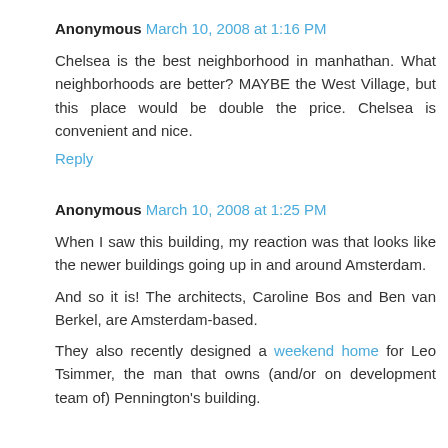Anonymous March 10, 2008 at 1:16 PM
Chelsea is the best neighborhood in manhathan. What neighborhoods are better? MAYBE the West Village, but this place would be double the price. Chelsea is convenient and nice.
Reply
Anonymous March 10, 2008 at 1:25 PM
When I saw this building, my reaction was that looks like the newer buildings going up in and around Amsterdam.
And so it is! The architects, Caroline Bos and Ben van Berkel, are Amsterdam-based.
They also recently designed a weekend home for Leo Tsimmer, the man that owns (and/or on development team of) Pennington's building.